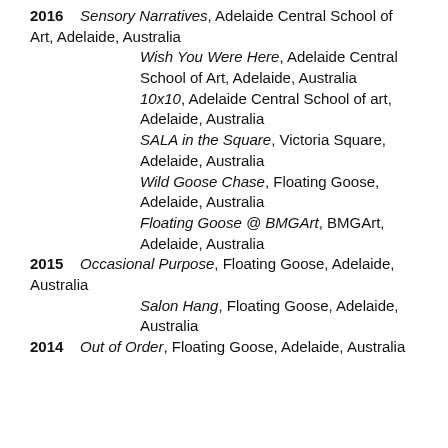2016 Sensory Narratives, Adelaide Central School of Art, Adelaide, Australia
Wish You Were Here, Adelaide Central School of Art, Adelaide, Australia
10x10, Adelaide Central School of art, Adelaide, Australia
SALA in the Square, Victoria Square, Adelaide, Australia
Wild Goose Chase, Floating Goose, Adelaide, Australia
Floating Goose @ BMGArt, BMGArt, Adelaide, Australia
2015 Occasional Purpose, Floating Goose, Adelaide, Australia
Salon Hang, Floating Goose, Adelaide, Australia
2014 Out of Order, Floating Goose, Adelaide, Australia